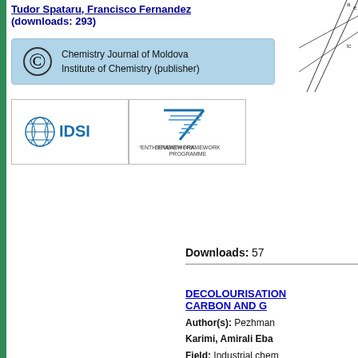Tudor Spataru, Francisco Fernandez (downloads: 293)
[Figure (logo): Chemistry Journal of Moldova, Institute of Chemistry (publisher) copyright box]
[Figure (logo): IDSI logo]
[Figure (logo): Seventh Framework Programme logo]
[Figure (engineering-diagram): Partial geometric/technical diagram visible at top right]
Downloads: 57
DECOLOURISATION... CARBON AND G...
Author(s): Pezman... Karimi, Amirali Eba... Field: Industrial chem... Type: Research pape... Issue: 2020 Volume... Pages: 54-61